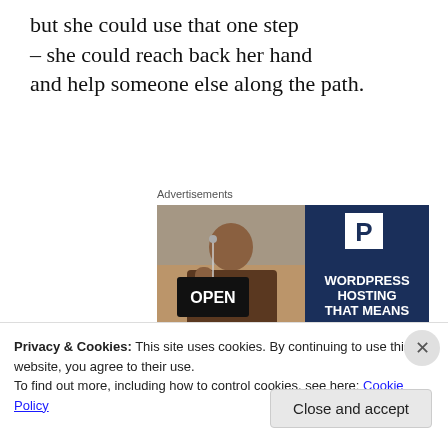but she could use that one step – she could reach back her hand and help someone else along the path.
Advertisements
[Figure (photo): Advertisement for WordPress Hosting showing a smiling woman holding an OPEN sign, with navy blue panel on right reading 'WORDPRESS HOSTING THAT MEANS BUSINESS.' and a stylized P logo]
Privacy & Cookies: This site uses cookies. By continuing to use this website, you agree to their use.
To find out more, including how to control cookies, see here: Cookie Policy
Close and accept